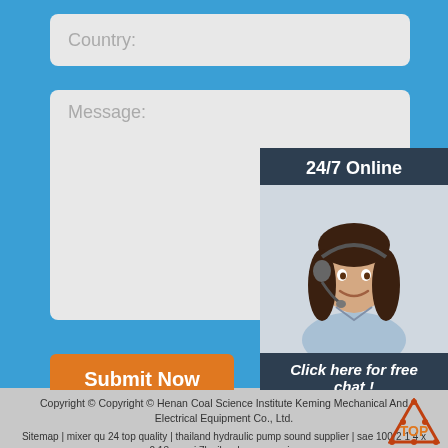Country:
Message:
Submit Now
[Figure (screenshot): 24/7 online customer support chat widget showing a woman wearing a headset, with 'Click here for free chat!' text and an orange QUOTATION button]
Copyright © Copyright © Henan Coal Science Institute Keming Mechanical And Electrical Equipment Co., Ltd.
Sitemap | mixer qu 24 top quality | thailand hydraulic pump sound supplier | sae 100r2 1 4 x 0 13 m api 7k vibrador mangueira